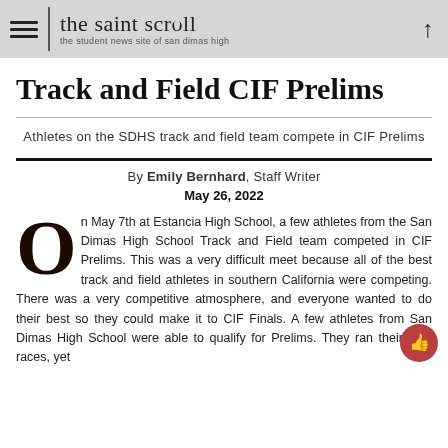the saint scroll — the student news site of san dimas high
Track and Field CIF Prelims
Athletes on the SDHS track and field team compete in CIF Prelims
By Emily Bernhard, Staff Writer
May 26, 2022
On May 7th at Estancia High School, a few athletes from the San Dimas High School Track and Field team competed in CIF Prelims. This was a very difficult meet because all of the best track and field athletes in southern California were competing. There was a very competitive atmosphere, and everyone wanted to do their best so they could make it to CIF Finals. A few athletes from San Dimas High School were able to qualify for Prelims. They ran their best races, yet